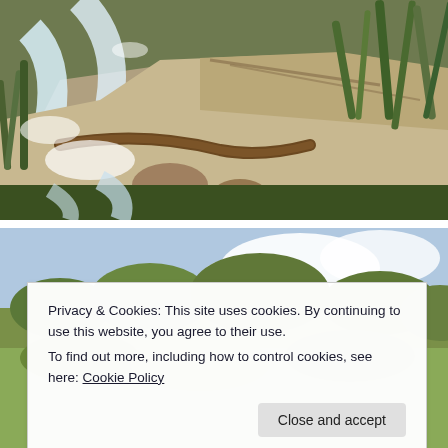[Figure (photo): A rushing stream or creek flowing over flat granite rocks, surrounded by native grasses and shrubs. The water is white and turbulent. There is a fallen log across the stream. The vegetation is dense on both sides.]
[Figure (photo): A second landscape photo partially visible showing scrubby trees and a partly cloudy blue sky, cut off by the cookie banner overlay.]
Privacy & Cookies: This site uses cookies. By continuing to use this website, you agree to their use.
To find out more, including how to control cookies, see here: Cookie Policy
Close and accept